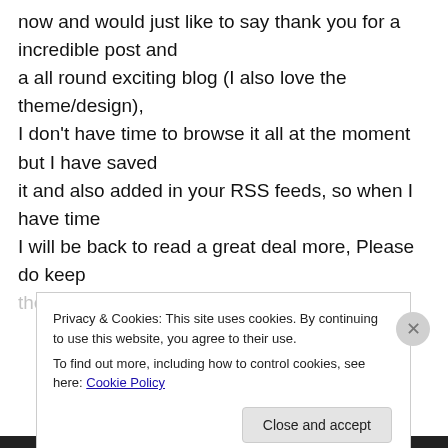now and would just like to say thank you for a incredible post and a all round exciting blog (I also love the theme/design), I don't have time to browse it all at the moment but I have saved it and also added in your RSS feeds, so when I have time I will be back to read a great deal more, Please do keep
Privacy & Cookies: This site uses cookies. By continuing to use this website, you agree to their use.
To find out more, including how to control cookies, see here: Cookie Policy
Close and accept